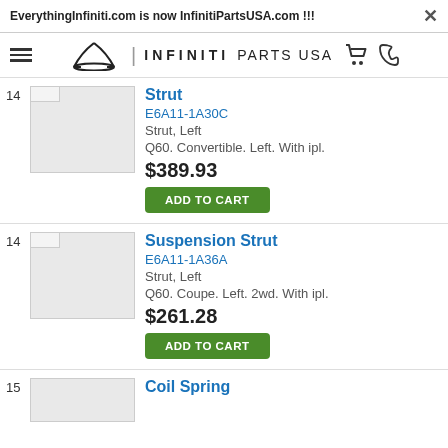EverythingInfiniti.com is now InfinitiPartsUSA.com !!!
[Figure (logo): Infiniti Parts USA logo with hamburger menu, Infiniti emblem, brand name, cart icon and phone icon]
Strut
E6A11-1A30C
Strut, Left
Q60. Convertible. Left. With ipl.
$389.93
ADD TO CART
Suspension Strut
E6A11-1A36A
Strut, Left
Q60. Coupe. Left. 2wd. With ipl.
$261.28
ADD TO CART
Coil Spring